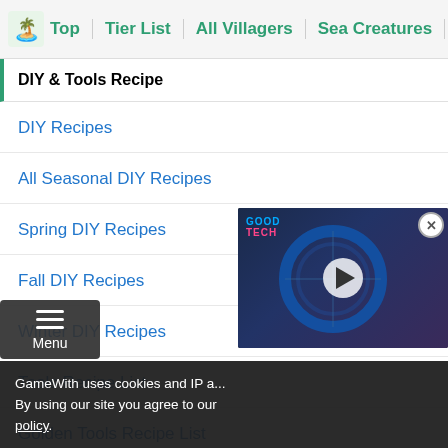Top | Tier List | All Villagers | Sea Creatures | Fish List
DIY & Tools Recipe
DIY Recipes
All Seasonal DIY Recipes
Spring DIY Recipes
Fall DIY Recipes
Winter DIY Recipes
Tools Recipe List
Golden Tools Recipe List
Golden Axe
[Figure (screenshot): Video player overlay showing a gaming video thumbnail with a play button, close button, and GoodTech branding]
GameWith uses cookies and IP a... By using our site you agree to our policy.